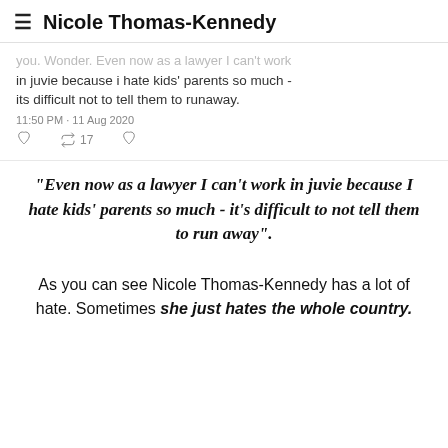Nicole Thomas-Kennedy
you. Wonder. Even now as a lawyer I can't work in juvie because i hate kids' parents so much - its difficult not to tell them to runaway.
11:50 PM · 11 Aug 2020
"Even now as a lawyer I can't work in juvie because I hate kids' parents so much - it's difficult to not tell them to run away".
As you can see Nicole Thomas-Kennedy has a lot of hate. Sometimes she just hates the whole country.